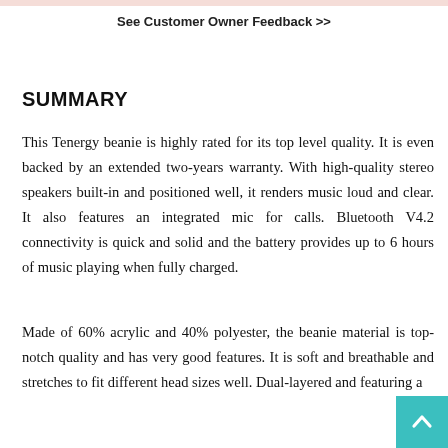See Customer Owner Feedback >>
SUMMARY
This Tenergy beanie is highly rated for its top level quality. It is even backed by an extended two-years warranty. With high-quality stereo speakers built-in and positioned well, it renders music loud and clear. It also features an integrated mic for calls. Bluetooth V4.2 connectivity is quick and solid and the battery provides up to 6 hours of music playing when fully charged.
Made of 60% acrylic and 40% polyester, the beanie material is top-notch quality and has very good features. It is soft and breathable and stretches to fit different head sizes well. Dual-layered and featuring a